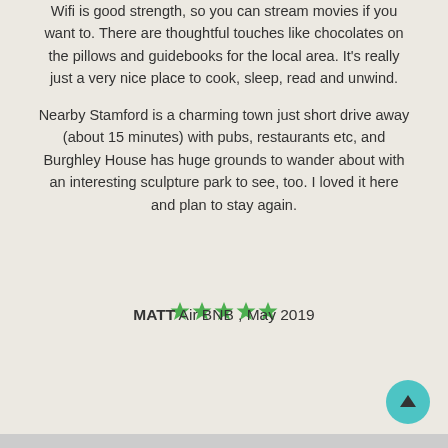Wifi is good strength, so you can stream movies if you want to. There are thoughtful touches like chocolates on the pillows and guidebooks for the local area. It's really just a very nice place to cook, sleep, read and unwind.
Nearby Stamford is a charming town just short drive away (about 15 minutes) with pubs, restaurants etc, and Burghley House has huge grounds to wander about with an interesting sculpture park to see, too. I loved it here and plan to stay again.
[Figure (other): Five green filled star rating icons indicating a 5-star review]
MATT Air BNB , May 2019